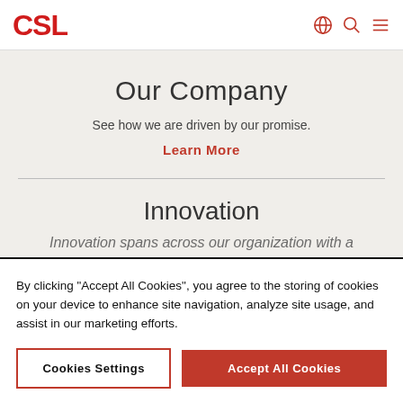CSL
Our Company
See how we are driven by our promise.
Learn More
Innovation
Innovation spans across our organization with a
By clicking "Accept All Cookies", you agree to the storing of cookies on your device to enhance site navigation, analyze site usage, and assist in our marketing efforts.
Cookies Settings
Accept All Cookies